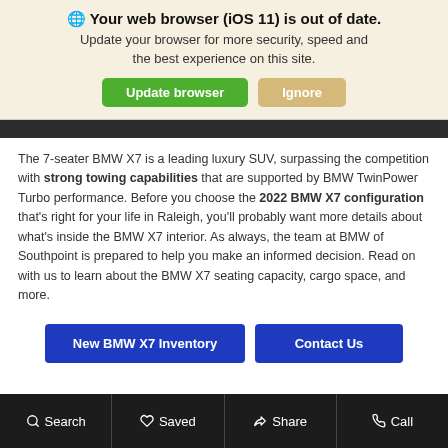🌐 Your web browser (iOS 11) is out of date. Update your browser for more security, speed and the best experience on this site.
Update browser | Ignore
[Figure (photo): Partial dark strip representing a cropped car image]
The 7-seater BMW X7 is a leading luxury SUV, surpassing the competition with strong towing capabilities that are supported by BMW TwinPower Turbo performance. Before you choose the 2022 BMW X7 configuration that's right for your life in Raleigh, you'll probably want more details about what's inside the BMW X7 interior. As always, the team at BMW of Southpoint is prepared to help you make an informed decision. Read on with us to learn about the BMW X7 seating capacity, cargo space, and more.
New BMW X7 Inventory | Contact Us
Search  Saved  Share  Call